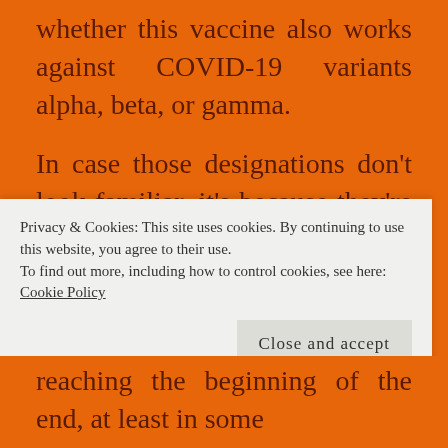whether this vaccine also works against COVID-19 variants alpha, beta, or gamma.
In case those designations don't look familiar, it's because they're new, and are designed to follow the same recently introduced guidelines that ended the practice of naming a virus or flu strain for the area it was first spotted.
So I'll be keeping my mask on in public for a while even though California is set to end the requirement
Privacy & Cookies: This site uses cookies. By continuing to use this website, you agree to their use.
To find out more, including how to control cookies, see here: Cookie Policy
reaching the beginning of the end, at least in some